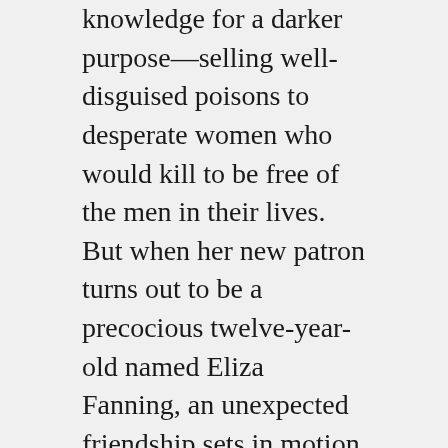knowledge for a darker purpose—selling well-disguised poisons to desperate women who would kill to be free of the men in their lives. But when her new patron turns out to be a precocious twelve-year-old named Eliza Fanning, an unexpected friendship sets in motion a string of events that jeopardizes Nella's world and threatens to expose the many women whose names are written in her register.
In present-day London, aspiring historian Caroline Parcewell spends her tenth wedding anniversary alone, reeling from the discovery of her husband's infidelity. When she finds an old apothecary vial near the river Thames, she